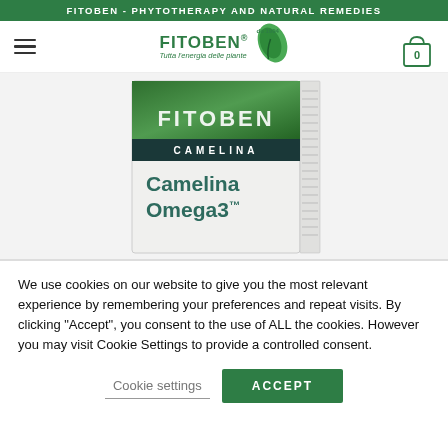FITOBEN - PHYTOTHERAPY AND NATURAL REMEDIES
[Figure (screenshot): Fitoben website navigation bar with hamburger menu, Fitoben logo with leaf icon, and shopping cart icon showing 0 items]
[Figure (photo): Product box for Camelina Omega3 by Fitoben. Box shows green plant imagery on top strip with FITOBEN text, dark teal CAMELINA label strip, and Camelina Omega3 text on white box body.]
We use cookies on our website to give you the most relevant experience by remembering your preferences and repeat visits. By clicking “Accept”, you consent to the use of ALL the cookies. However you may visit Cookie Settings to provide a controlled consent.
Cookie settings
ACCEPT